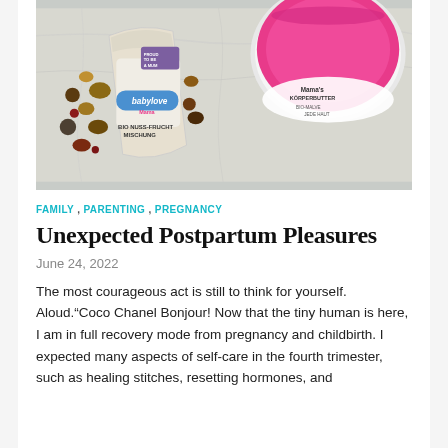[Figure (photo): Photo of babylove Bio Nuss-Frucht Mischung snack bag with nuts and dried fruits, next to a pink Mama's Körperbutter bio body butter jar, on a light marble surface]
FAMILY , PARENTING , PREGNANCY
Unexpected Postpartum Pleasures
June 24, 2022
The most courageous act is still to think for yourself. Aloud."Coco Chanel Bonjour! Now that the tiny human is here, I am in full recovery mode from pregnancy and childbirth. I expected many aspects of self-care in the fourth trimester, such as healing stitches, resetting hormones, and